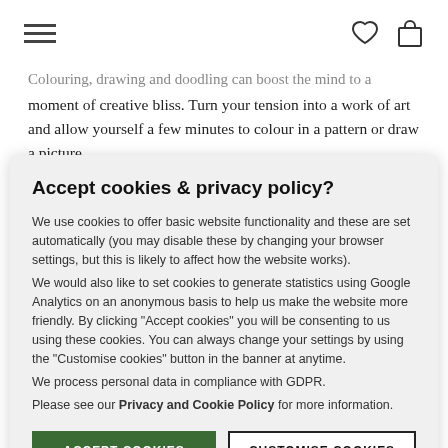[hamburger menu icon] [heart icon] [bag icon]
Colouring, drawing and doodling can boost the mind to a moment of creative bliss. Turn your tension into a work of art and allow yourself a few minutes to colour in a pattern or draw a picture.
Tip 3
Accept cookies & privacy policy?
We use cookies to offer basic website functionality and these are set automatically (you may disable these by changing your browser settings, but this is likely to affect how the website works).
We would also like to set cookies to generate statistics using Google Analytics on an anonymous basis to help us make the website more friendly. By clicking "Accept cookies" you will be consenting to us using these cookies. You can always change your settings by using the "Customise cookies" button in the banner at anytime.
We process personal data in compliance with GDPR.
Please see our Privacy and Cookie Policy for more information.
ACCEPT COOKIES
CUSTOMISE COOKIES